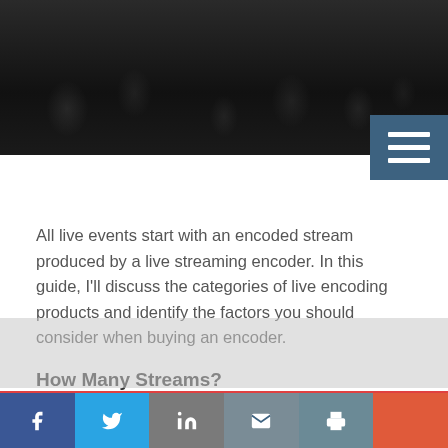[Figure (photo): Dark hero image showing a dimly lit crowd or audience in the background]
All live events start with an encoded stream produced by a live streaming encoder. In this guide, I'll discuss the categories of live encoding products and identify the factors you should consider when buying an encoder.
How Many Streams?
Let's start with three preliminary items. First, before you start shopping, you should identify the number of streams that you'll deliver and the formats you'll deliver in. For small producers, this might be a single stream H.264 stream delivered via Flash to desktop viewers. For a large producer,